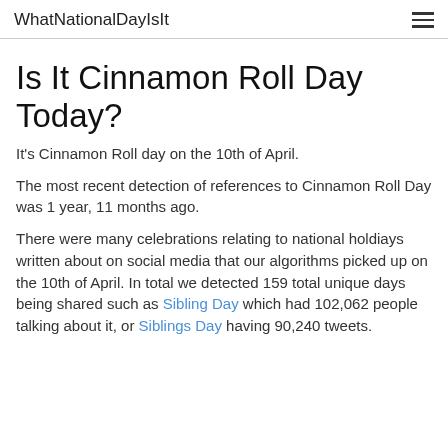WhatNationalDayIsIt
Is It Cinnamon Roll Day Today?
It's Cinnamon Roll day on the 10th of April.
The most recent detection of references to Cinnamon Roll Day was 1 year, 11 months ago.
There were many celebrations relating to national holdiays written about on social media that our algorithms picked up on the 10th of April. In total we detected 159 total unique days being shared such as Sibling Day which had 102,062 people talking about it, or Siblings Day having 90,240 tweets.